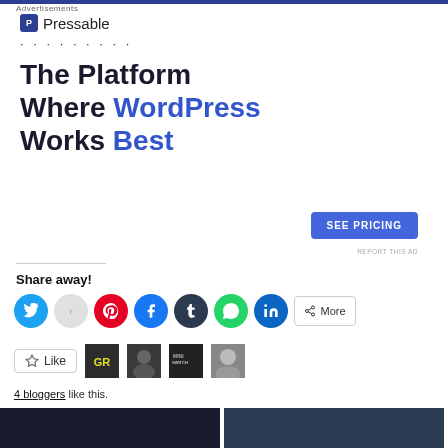Advertisements
[Figure (logo): Pressable logo with blue P icon and dotted separator]
The Platform Where WordPress Works Best
SEE PRICING
REPORT THIS AD
Share away!
[Figure (infographic): Social share buttons: Twitter, Reddit, Pinterest, Facebook, Tumblr, WhatsApp, LinkedIn, More]
[Figure (infographic): Like button with blogger avatars]
4 bloggers like this.
[Figure (photo): Two thumbnail images at bottom of page]